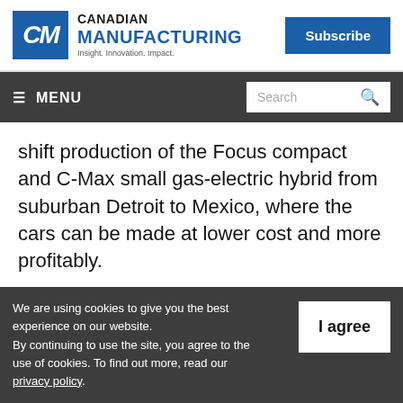Canadian Manufacturing — Insight. Innovation. Impact. | Subscribe
≡ MENU | Search
shift production of the Focus compact and C-Max small gas-electric hybrid from suburban Detroit to Mexico, where the cars can be made at lower cost and more profitably.
The UAW's new four-year contract with Ford,
We are using cookies to give you the best experience on our website. By continuing to use the site, you agree to the use of cookies. To find out more, read our privacy policy.